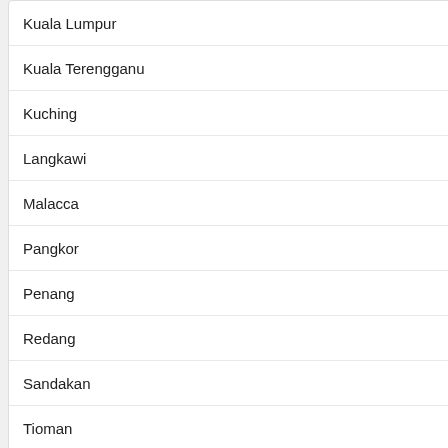Kuala Lumpur +76
Kuala Terengganu +82
Kuching +76
Langkawi +86
Malacca +82
Pangkor +84
Penang +86
Redang +84
Sandakan +78
Tioman +92
all resorts
Countries:
| NAME | POPULARITY |
| --- | --- |
| BULGARIA |  |
| CHINA |  |
Precip: 83%   Feels like
Sea Water Temperature:
Sunrise: 07:10 | Sunset
Moonrise: 05:27 | Moons
Pressure: 100
Humidity:
Visibility: 6
Day Length: 12 h. 1
MONTH AVERAGES
August: 95.1°F  77.8
Kuala Lum